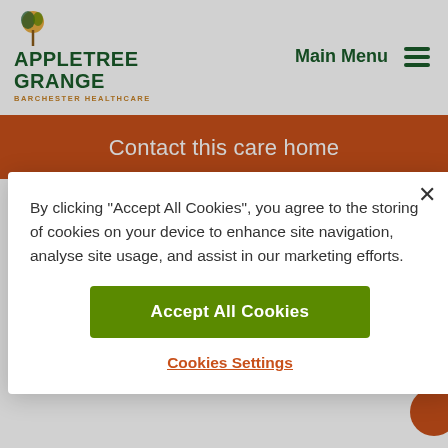APPLETREE GRANGE BARCHESTER HEALTHCARE | Main Menu
Contact this care home
professional but also warm and affectionate with the
By clicking "Accept All Cookies", you agree to the storing of cookies on your device to enhance site navigation, analyse site usage, and assist in our marketing efforts.
Accept All Cookies
Cookies Settings